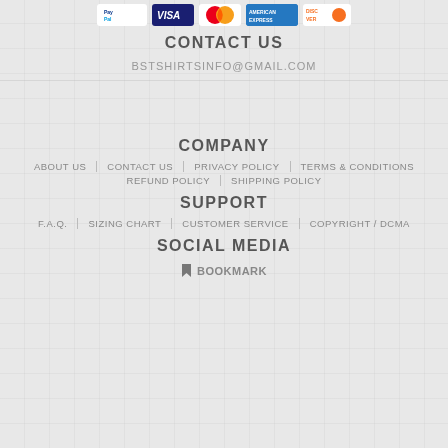[Figure (logo): Payment method icons: PayPal, Visa, MasterCard, American Express, Discover]
CONTACT US
BSTSHIRTSINFO@GMAIL.COM
COMPANY
ABOUT US | CONTACT US | PRIVACY POLICY | TERMS & CONDITIONS
REFUND POLICY | SHIPPING POLICY
SUPPORT
F.A.Q. | SIZING CHART | CUSTOMER SERVICE | COPYRIGHT / DCMA
SOCIAL MEDIA
BOOKMARK